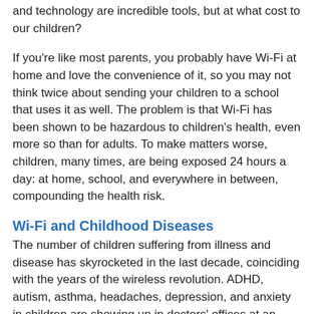and technology are incredible tools, but at what cost to our children?
If you're like most parents, you probably have Wi-Fi at home and love the convenience of it, so you may not think twice about sending your children to a school that uses it as well. The problem is that Wi-Fi has been shown to be hazardous to children's health, even more so than for adults. To make matters worse, children, many times, are being exposed 24 hours a day: at home, school, and everywhere in between, compounding the health risk.
Wi-Fi and Childhood Diseases
The number of children suffering from illness and disease has skyrocketed in the last decade, coinciding with the years of the wireless revolution. ADHD, autism, asthma, headaches, depression, and anxiety in children are showing up in doctors' offices at an alarming rate.